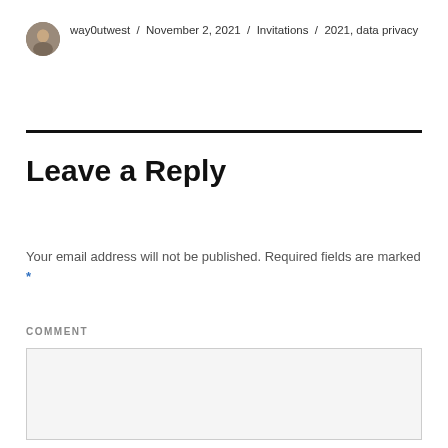way0utwest / November 2, 2021 / Invitations / 2021, data privacy
Leave a Reply
Your email address will not be published. Required fields are marked *
COMMENT